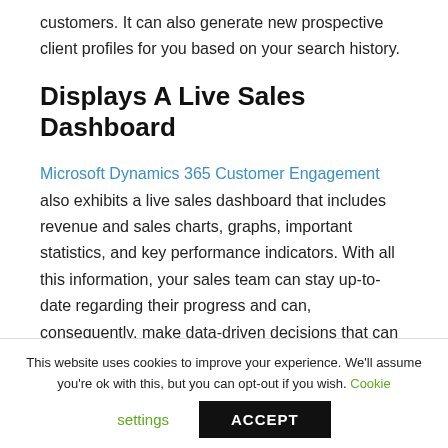customers. It can also generate new prospective client profiles for you based on your search history.
Displays A Live Sales Dashboard
Microsoft Dynamics 365 Customer Engagement also exhibits a live sales dashboard that includes revenue and sales charts, graphs, important statistics, and key performance indicators. With all this information, your sales team can stay up-to-date regarding their progress and can, consequently, make data-driven decisions that can help them in establishing a vast, loyal customer base.
This website uses cookies to improve your experience. We'll assume you're ok with this, but you can opt-out if you wish. Cookie settings ACCEPT